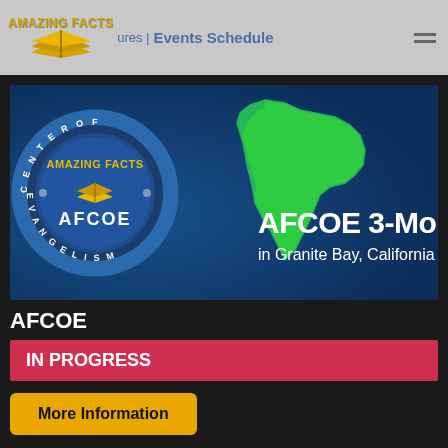AMAZING FACTS | Events Schedule
[Figure (illustration): AFCOE 3-Month in Granite Bay, California promotional image featuring the Amazing Facts AFCOE Center of Evangelism circular logo on a blue textured background with a green 3D map of California and white bold text reading 'AFCOE 3-Month in Granite Bay, California']
AFCOE
IN PROGRESS
More Information